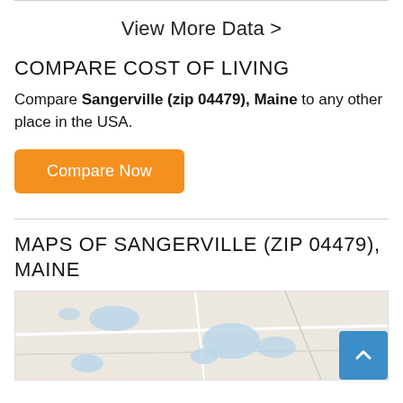View More Data >
COMPARE COST OF LIVING
Compare Sangerville (zip 04479), Maine to any other place in the USA.
Compare Now
MAPS OF SANGERVILLE (ZIP 04479), MAINE
[Figure (map): Map of Sangerville (zip 04479), Maine showing roads and water bodies]